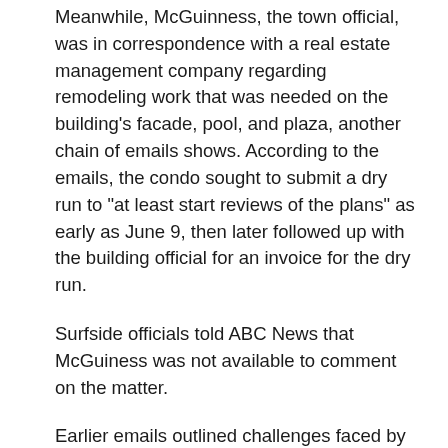Meanwhile, McGuinness, the town official, was in correspondence with a real estate management company regarding remodeling work that was needed on the building's facade, pool, and plaza, another chain of emails shows. According to the emails, the condo sought to submit a dry run to "at least start reviews of the plans" as early as June 9, then later followed up with the building official for an invoice for the dry run.
Surfside officials told ABC News that McGuiness was not available to comment on the matter.
Earlier emails outlined challenges faced by building representatives as they tried to keep repairs on track. In a message dated May 26, resident and former condo board member Myriam Notkin complained about tar kettle fumes coming into her apartment during the building's roof repair, asking if the operation could be relocated. Condo board president Jean Wodnicki responded that the roof remediation plan was approved